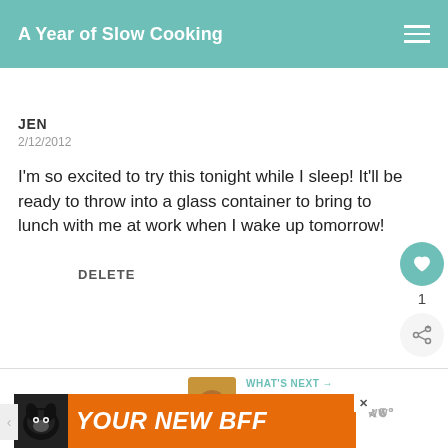A Year of Slow Cooking
JEN
2/12/2012
I'm so excited to try this tonight while I sleep! It'll be ready to throw into a glass container to bring to lunch with me at work when I wake up tomorrow!
DELETE
WHAT'S NEXT → Best Slow Cooker...
[Figure (other): Advertisement banner with dog image and text YOUR NEW BFF on orange background with close button]